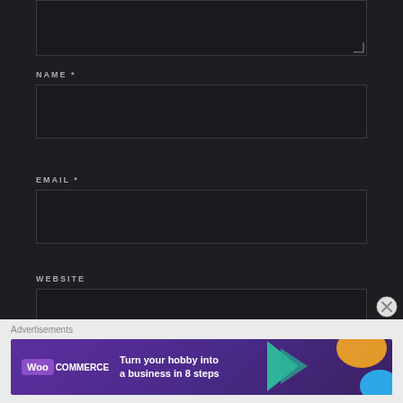[Figure (screenshot): Textarea input box (top of page, partially visible), dark background form]
NAME *
[Figure (screenshot): Name input text field, dark styled]
EMAIL *
[Figure (screenshot): Email input text field, dark styled]
WEBSITE
[Figure (screenshot): Website input text field, dark styled]
Advertisements
[Figure (infographic): WooCommerce advertisement banner: Turn your hobby into a business in 8 steps]